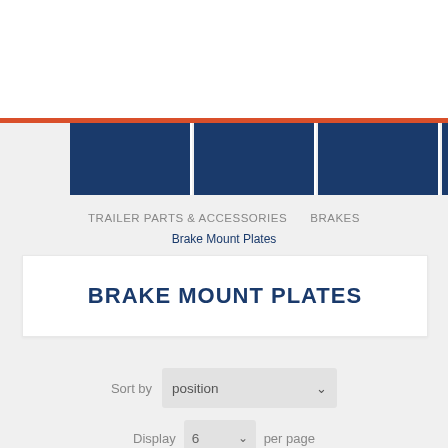[Figure (screenshot): Website header navigation with orange bar and dark blue menu tiles]
TRAILER PARTS & ACCESSORIES   BRAKES
Brake Mount Plates
BRAKE MOUNT PLATES
Sort by   position
Display   6   per page